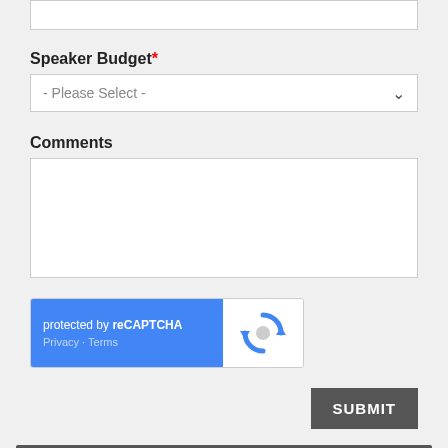Speaker Budget*
- Please Select -
Comments
[Figure (screenshot): reCAPTCHA widget with blue left panel showing 'protected by reCAPTCHA' and Privacy/Terms links, and white right panel with reCAPTCHA logo]
SUBMIT
Other Speakers You May Like
Josh Kraushaar
Senior Political Correspondent, Axios;